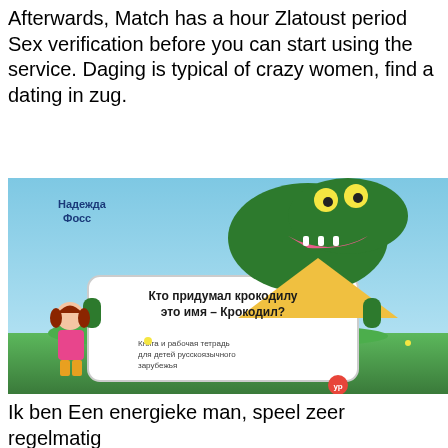Afterwards, Match has a hour Zlatoust period Sex verification before you can start using the service. Daging is typical of crazy women, find a dating in zug.
[Figure (illustration): A Russian children's book cover featuring a cartoon green crocodile peeking over a white sign/board, with two cartoon children (a girl and a boy) below. Russian text reads: 'Надежда Фосс' (author name), 'Кто придумал крокодилу это имя – Крокодил?' (Who came up with the name Crocodile for the crocodile?), and 'Книга и рабочая тетрадь для детей русскоязычного зарубежья' (Book and workbook for Russian-speaking children abroad). Green and blue nature background.]
Ik ben Een energieke man, speel zeer regelmatig